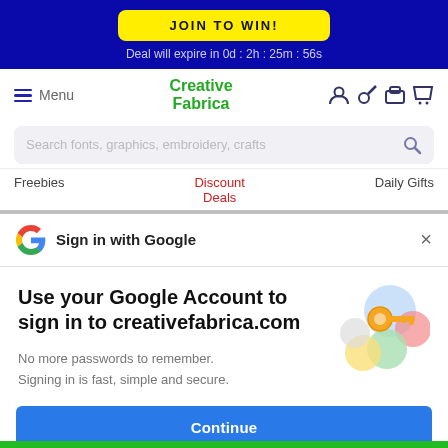JOIN TO WIN!
Deal will expire in 0d : 2h : 25m : 56s
[Figure (screenshot): Creative Fabrica website navigation bar with menu icon, brand name 'Creative Fabrica', and account/cart icons]
Search fonts, graphics, embroidery, crafts
Freebies   Discount Deals   Daily Gifts
Sign in with Google
Use your Google Account to sign in to creativefabrica.com
No more passwords to remember. Signing in is fast, simple and secure.
[Figure (illustration): Google account illustration showing a golden key with colorful circular icons]
Continue